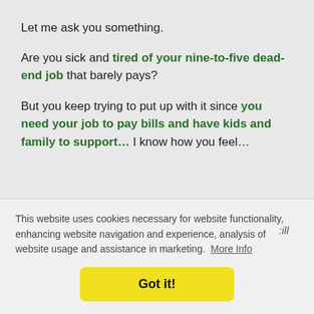Let me ask you something.
Are you sick and tired of your nine-to-five dead-end job that barely pays?
But you keep trying to put up with it since you need your job to pay bills and have kids and family to support… I know how you feel…
This website uses cookies necessary for website functionality, enhancing website navigation and experience, analysis of website usage and assistance in marketing. More Info
Got it!